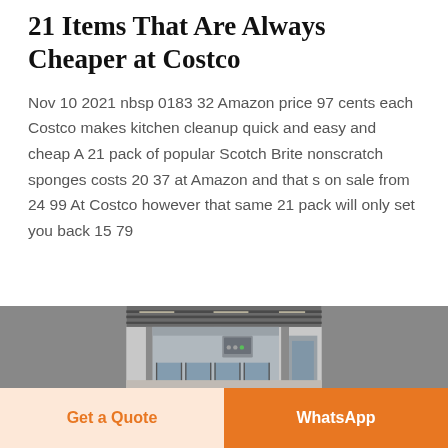21 Items That Are Always Cheaper at Costco
Nov 10 2021 nbsp 0183 32 Amazon price 97 cents each Costco makes kitchen cleanup quick and easy and cheap A 21 pack of popular Scotch Brite nonscratch sponges costs 20 37 at Amazon and that s on sale from 24 99 At Costco however that same 21 pack will only set you back 15 79
[Figure (photo): Interior of a Costco warehouse store showing industrial ceiling, metal shelving and refrigeration units with glass doors]
Get a Quote
WhatsApp